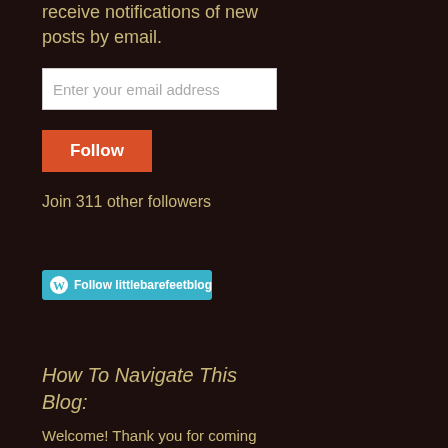receive notifications of new posts by email.
[Figure (screenshot): Email address input field with placeholder text 'Enter your email address']
[Figure (screenshot): Orange 'Follow' button]
Join 311 other followers
[Figure (screenshot): WordPress 'Follow littlebarefeetblog' button in cyan/teal color with WordPress logo]
How To Navigate This Blog:
Welcome! Thank you for coming